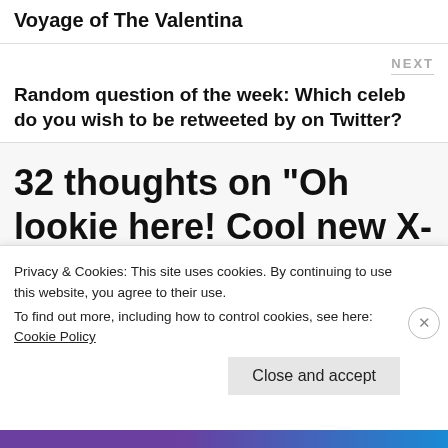Voyage of The Valentina
NEXT
Random question of the week: Which celeb do you wish to be retweeted by on Twitter?
32 thoughts on “Oh lookie here! Cool new X-Men First Class footage…
Privacy & Cookies: This site uses cookies. By continuing to use this website, you agree to their use.
To find out more, including how to control cookies, see here: Cookie Policy
Close and accept